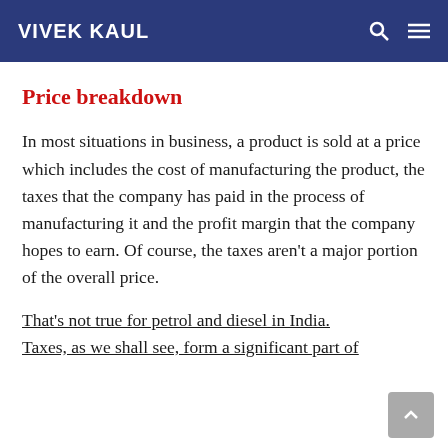VIVEK KAUL
Price breakdown
In most situations in business, a product is sold at a price which includes the cost of manufacturing the product, the taxes that the company has paid in the process of manufacturing it and the profit margin that the company hopes to earn. Of course, the taxes aren't a major portion of the overall price.
That's not true for petrol and diesel in India. Taxes, as we shall see, form a significant part of